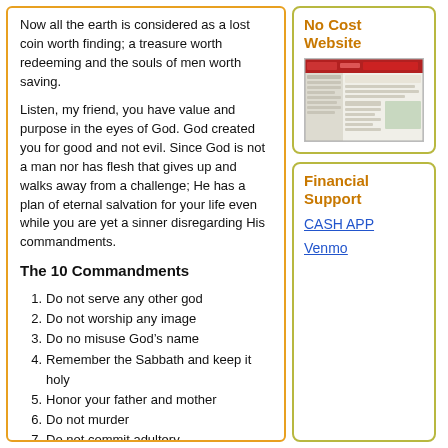Now all the earth is considered as a lost coin worth finding; a treasure worth redeeming and the souls of men worth saving.
Listen, my friend, you have value and purpose in the eyes of God. God created you for good and not evil. Since God is not a man nor has flesh that gives up and walks away from a challenge; He has a plan of eternal salvation for your life even while you are yet a sinner disregarding His commandments.
The 10 Commandments
1. Do not serve any other god
2. Do not worship any image
3. Do no misuse God’s name
4. Remember the Sabbath and keep it holy
5. Honor your father and mother
6. Do not murder
7. Do not commit adultery
8. Do not steal
[Figure (screenshot): Screenshot of a website with a red header and content columns]
No Cost Website
Financial Support
CASH APP
Venmo